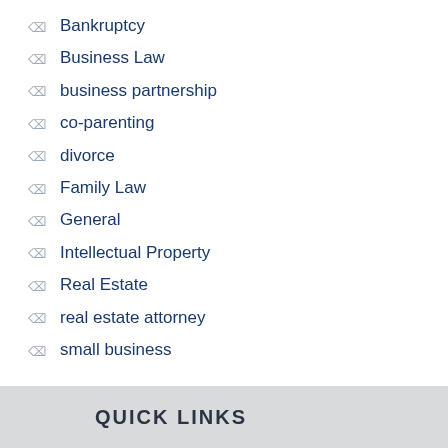Bankruptcy
Business Law
business partnership
co-parenting
divorce
Family Law
General
Intellectual Property
Real Estate
real estate attorney
small business
QUICK LINKS
Home
About Us